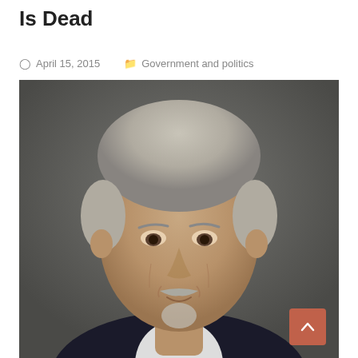Is Dead
April 15, 2015   Government and politics
[Figure (photo): Headshot of a middle-aged man with gray hair, mustache and goatee, wearing a dark suit jacket and white shirt, against a gray background.]